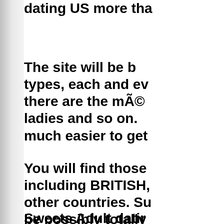dating US more tha
The site will be b types, each and ev there are the mÃ© ladies and so on. much easier to get
You will find those including BRITISH, other countries. Su be possibly totally where you could m them concerns aro communicate their
Sweets Adult datir